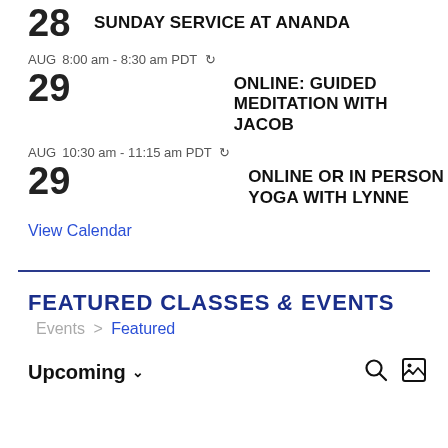28 SUNDAY SERVICE AT ANANDA
AUG 8:00 am - 8:30 am PDT [recurring] 29 ONLINE: GUIDED MEDITATION WITH JACOB
AUG 10:30 am - 11:15 am PDT [recurring] 29 ONLINE OR IN PERSON YOGA WITH LYNNE
View Calendar
FEATURED CLASSES & EVENTS
Events > Featured
Upcoming ∨